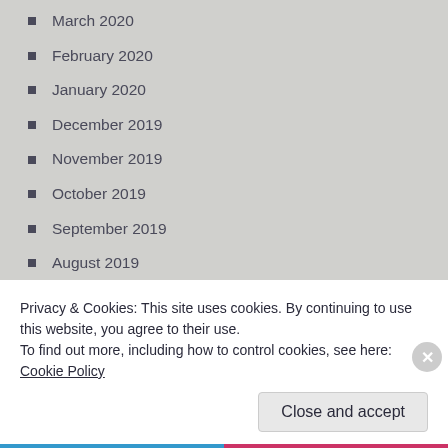March 2020
February 2020
January 2020
December 2019
November 2019
October 2019
September 2019
August 2019
July 2019
June 2019
May 2019
Privacy & Cookies: This site uses cookies. By continuing to use this website, you agree to their use.
To find out more, including how to control cookies, see here: Cookie Policy
Close and accept